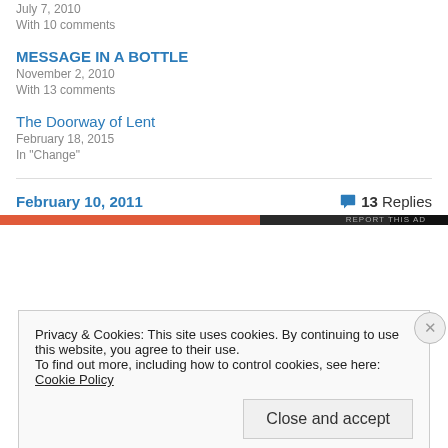July 7, 2010
With 10 comments
MESSAGE IN A BOTTLE
November 2, 2010
With 13 comments
The Doorway of Lent
February 18, 2015
In "Change"
February 10, 2011
13 Replies
Privacy & Cookies: This site uses cookies. By continuing to use this website, you agree to their use.
To find out more, including how to control cookies, see here: Cookie Policy
Close and accept